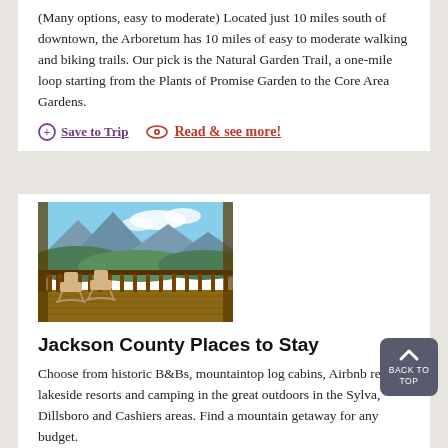(Many options, easy to moderate) Located just 10 miles south of downtown, the Arboretum has 10 miles of easy to moderate walking and biking trails. Our pick is the Natural Garden Trail, a one-mile loop starting from the Plants of Promise Garden to the Core Area Gardens.
Save to Trip | Read & see more!
[Figure (photo): A wooden cabin porch with rocking chairs overlooking a scenic mountain and forest view under blue sky with clouds.]
Jackson County Places to Stay
Choose from historic B&Bs, mountaintop log cabins, Airbnb rentals, lakeside resorts and camping in the great outdoors in the Sylva, Dillsboro and Cashiers areas. Find a mountain getaway for any budget.
Save to Trip | Go to their website.